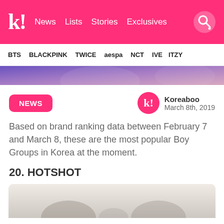k! News Lists Stories Exclusives
BTS BLACKPINK TWICE aespa NCT IVE ITZY
[Figure (photo): Banner/header image strip with colorful background (purple/pink tones), partially visible K-pop group photo]
NEWS
Koreaboo
March 8th, 2019
Based on brand ranking data between February 7 and March 8, these are the most popular Boy Groups in Korea at the moment.
20. HOTSHOT
[Figure (photo): Partial photo of HOTSHOT K-pop group members, light/white background, bottom of image cut off]